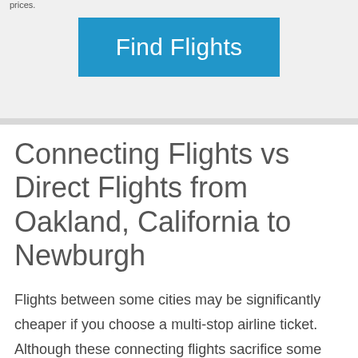prices.
[Figure (other): Blue 'Find Flights' button on a light gray background]
Connecting Flights vs Direct Flights from Oakland, California to Newburgh
Flights between some cities may be significantly cheaper if you choose a multi-stop airline ticket. Although these connecting flights sacrifice some convenience, on average, travelers save 20%-60% when they choose to fly multi-stop versus a direct flight.